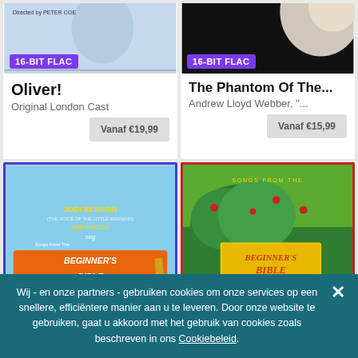[Figure (illustration): Album cover top portion for Oliver! - blue toned illustrated face with 'Directed by Peter Coe' text, 16-BIT FLAC badge]
Oliver!
Original London Cast
Vanaf €19,99
[Figure (illustration): Album cover top portion for The Phantom Of The Opera - dark background with partial face, 16-BIT FLAC badge]
The Phantom Of The...
Andrew Lloyd Webber, "..."
Vanaf €15,99
[Figure (illustration): Jodi Benson Songs From The Beginner's Bible album cover - colorful cartoon with animals and biblical characters, 16-BIT FLAC badge]
[Figure (illustration): Beginner's Bible Songs with Jodi Benson album cover - Jodi Benson sitting under tree with children, 16-BIT FLAC badge]
Wij - en onze partners - gebruiken cookies om onze services op een snellere, efficiëntere manier aan u te leveren. Door onze website te gebruiken, gaat u akkoord met het gebruik van cookies zoals beschreven in ons Cookiebeleid.